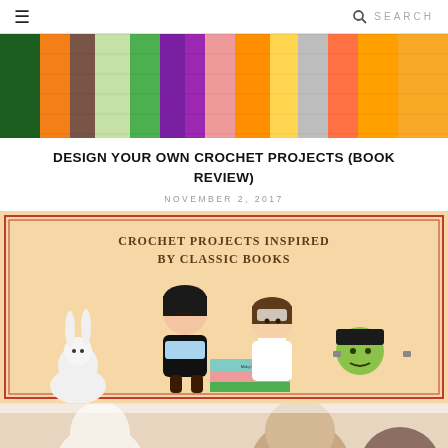≡  🔍 SEARCH
[Figure (photo): Colorful crocheted items including blankets, bookmarks and accessories in various colors including purple, orange, green, yellow on a light background]
DESIGN YOUR OWN CROCHET PROJECTS (BOOK REVIEW)
NOVEMBER 2, 2017
[Figure (photo): Book cover for 'Crochet Projects Inspired by Classic Books' showing crocheted amigurumi dolls including characters in black, white/blue outfit, white dress on books (Moby Dick), and a green Frankenstein-style figure on a peach/tan background with red border]
[Figure (photo): Partial view of more crocheted amigurumi figures on a light background, cropped at bottom of page]